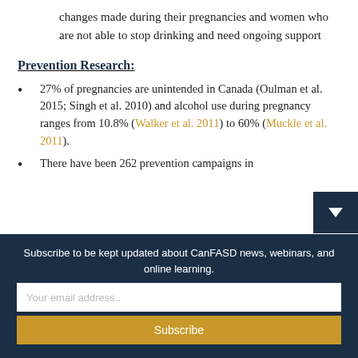changes made during their pregnancies and women who are not able to stop drinking and need ongoing support
Prevention Research:
27% of pregnancies are unintended in Canada (Oulman et al. 2015; Singh et al. 2010) and alcohol use during pregnancy ranges from 10.8% (Walker et al. 2011) to 60% (Muckle et al. 2011).
There have been 262 prevention campaigns in
Subscribe to be kept updated about CanFASD news, webinars, and online learning.
Your email address..
Subscribe